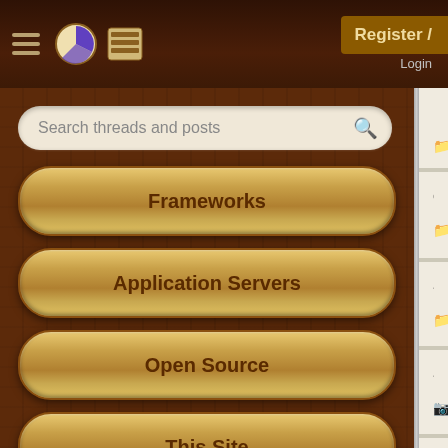[Figure (screenshot): Mobile forum app UI with dark wood-textured header bar containing hamburger menu, pie logo icon, and menu icon on left side. Register/Login button visible on right.]
Search threads and posts
Frameworks
Application Servers
Open Source
This Site
Careers
Other
Pie Elite
Image — 1 reply
dispalying content in san — 1 reply
Struts Validation Framew — 0 replies
Save excel file by hitting — 6 replies
Dynamic ModalPanel in — 0 replies